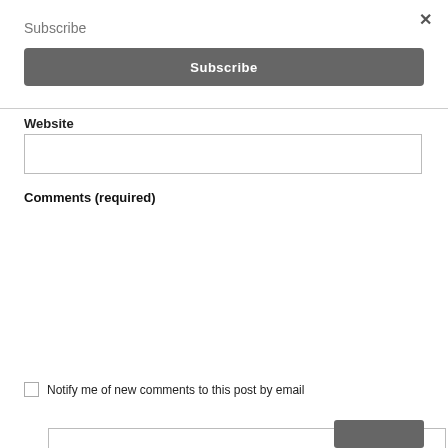Subscribe
×
Subscribe
Website
[Figure (screenshot): Empty text input box for Website field]
Comments (required)
[Figure (screenshot): Large empty textarea for comments with resize handle]
Notify me of new comments to this post by email